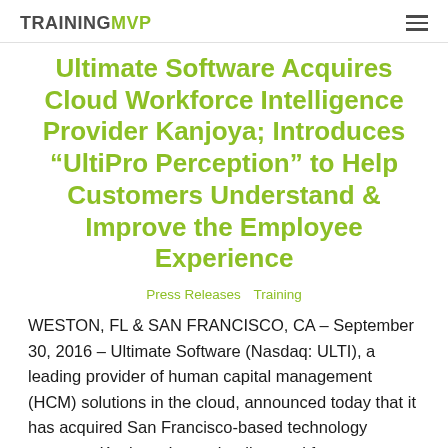TRAININGMVP
Ultimate Software Acquires Cloud Workforce Intelligence Provider Kanjoya; Introduces “UltiPro Perception” to Help Customers Understand & Improve the Employee Experience
Press Releases  Training
WESTON, FL & SAN FRANCISCO, CA – September 30, 2016 – Ultimate Software (Nasdaq: ULTI), a leading provider of human capital management (HCM) solutions in the cloud, announced today that it has acquired San Francisco-based technology company Kanjoya, Inc., a leading workforce intelligence and